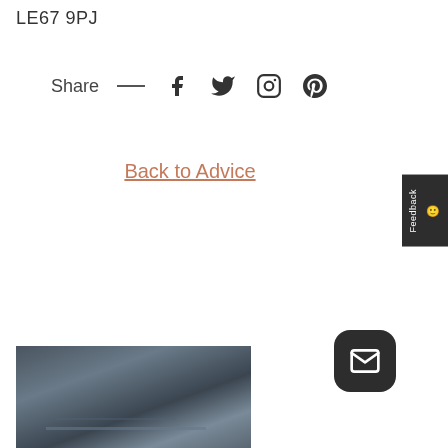LE67 9PJ
Share — f 𝕏 Instagram Pinterest
Back to Advice
[Figure (screenshot): Feedback tab on right side with emoji]
[Figure (screenshot): Dark email button with envelope icon]
[Figure (photo): Close-up photo of dark grey fabric/textile material]